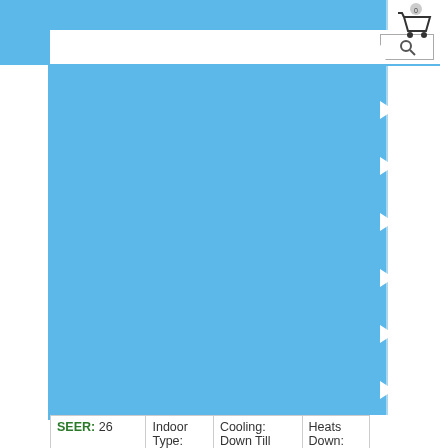[Figure (screenshot): Blue banner/header area of an e-commerce website with navigation arrows and search bar with cart icon showing 0 items]
| SEER | Indoor Type | Cooling | Heats Down |
| --- | --- | --- | --- |
| SEER: 26 | Indoor Type: Wall Mount | Cooling: Down Till 14 F | Heats Down: -12 |
Warranty: 7 Yrs Compressor + 5 Yr Parts
$2014.52
Fujitsu 9000 BTU Ductless AC Heat Pump Wall Mounted Single Zone SEER 21
| SEER | Indoor Type | Cooling | Heats |
| --- | --- | --- | --- |
| SEER: 21 | Indoor Type: | Cooling: | Heats |